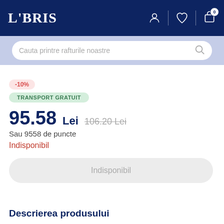LIBRIS
Cauta printre rafturile noastre
-10%
TRANSPORT GRATUIT
95.58 Lei  106.20 Lei
Sau 9558 de puncte
Indisponibil
Indisponibil
Descrierea produsului